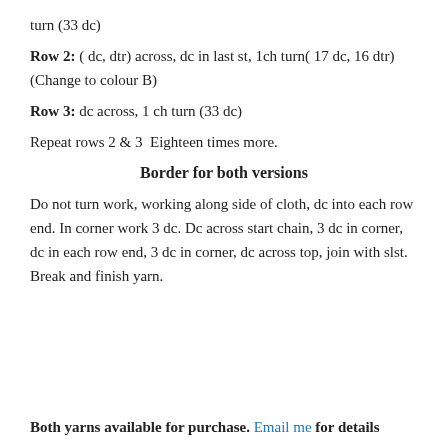turn (33 dc)
Row 2: ( dc, dtr) across, dc in last st, 1ch turn( 17 dc, 16 dtr) (Change to colour B)
Row 3: dc across, 1 ch turn (33 dc)
Repeat rows 2 & 3  Eighteen times more.
Border for both versions
Do not turn work, working along side of cloth, dc into each row end. In corner work 3 dc. Dc across start chain, 3 dc in corner, dc in each row end, 3 dc in corner, dc across top, join with slst. Break and finish yarn.
Both yarns available for purchase. Email me for details